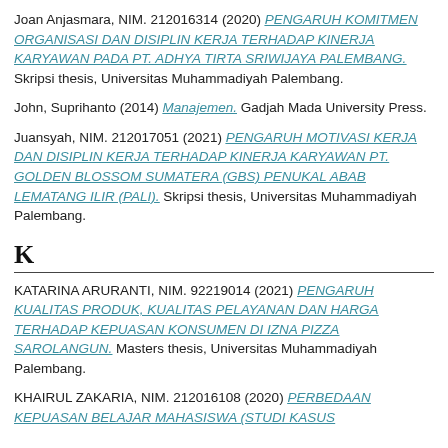Joan Anjasmara, NIM. 212016314 (2020) PENGARUH KOMITMEN ORGANISASI DAN DISIPLIN KERJA TERHADAP KINERJA KARYAWAN PADA PT. ADHYA TIRTA SRIWIJAYA PALEMBANG. Skripsi thesis, Universitas Muhammadiyah Palembang.
John, Suprihanto (2014) Manajemen. Gadjah Mada University Press.
Juansyah, NIM. 212017051 (2021) PENGARUH MOTIVASI KERJA DAN DISIPLIN KERJA TERHADAP KINERJA KARYAWAN PT. GOLDEN BLOSSOM SUMATERA (GBS) PENUKAL ABAB LEMATANG ILIR (PALI). Skripsi thesis, Universitas Muhammadiyah Palembang.
K
KATARINA ARURANTI, NIM. 92219014 (2021) PENGARUH KUALITAS PRODUK, KUALITAS PELAYANAN DAN HARGA TERHADAP KEPUASAN KONSUMEN DI IZNA PIZZA SAROLANGUN. Masters thesis, Universitas Muhammadiyah Palembang.
KHAIRUL ZAKARIA, NIM. 212016108 (2020) PERBEDAAN KEPUASAN BELAJAR MAHASISWA (STUDI KASUS